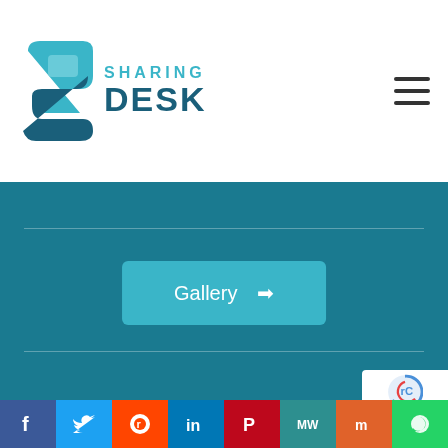[Figure (logo): Sharing Desk logo with teal S-shaped icon and text SHARING DESK]
[Figure (infographic): Hamburger menu icon (three horizontal lines) in top right corner]
[Figure (infographic): Teal button with text Gallery and arrow pointing right]
SHARINGDESK. © 2021 | ALL RIGHTS RESERVED
Privacy Policy | Terms And Conditions | Disclaim...
DESIGNED BY E-Tech Lab
[Figure (infographic): Social media bar at bottom with Facebook, Twitter, Reddit, LinkedIn, Pinterest, MeWe, Mix, WhatsApp icons]